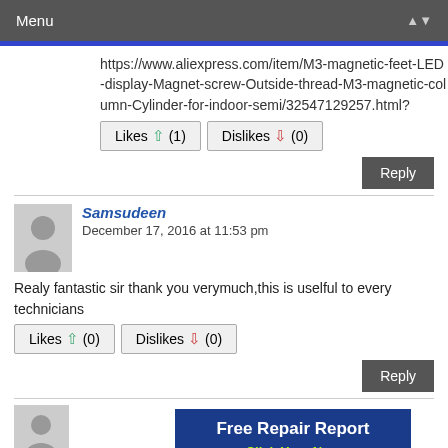Menu
https://www.aliexpress.com/item/M3-magnetic-feet-LED-display-Magnet-screw-Outside-thread-M3-magnetic-column-Cylinder-for-indoor-semi/32547129257.html?
Likes (1)  Dislikes (0)
Reply
Samsudeen
December 17, 2016 at 11:53 pm
Realy fantastic sir thank you verymuch,this is uselful to every technicians
Likes (0)  Dislikes (0)
Reply
[Figure (other): Advertisement banner: Free Repair Report - Click Here Now]